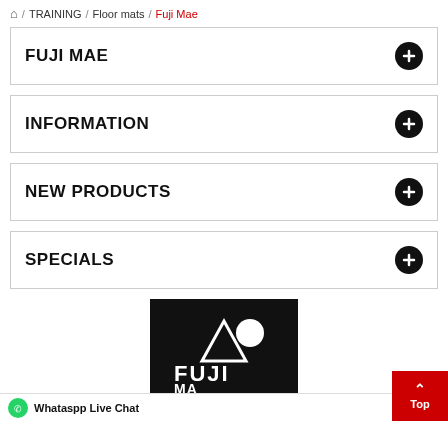🏠 / TRAINING / Floor mats / Fuji Mae
FUJI MAE
INFORMATION
NEW PRODUCTS
SPECIALS
[Figure (logo): Fuji Mae logo on black background with mountain/circle icon and FUJI MAE text in white]
Whatsapp Live Chat